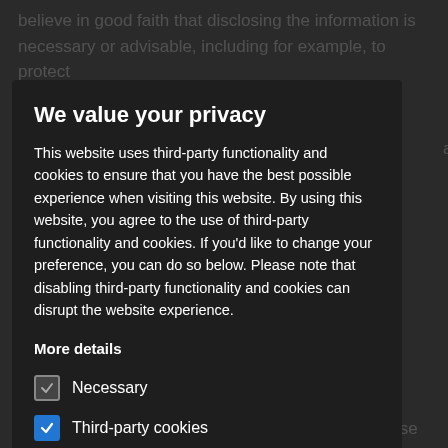believe in good faith that disclosing the information is necessary or advisable, including for example, to protect the security of La Visage, our users or others, or to prevent or detect fraud. In addition, we are not responsible for the privacy policies or information gathering practices of other websites, including those to which we may link and those which may link to us. We strongly recommend that you review the privacy policies of every service you use before submitting any personal information and direct any concerns to the site administrator of that website.
We value your privacy
This website uses third-party functionality and cookies to ensure that you have the best possible experience when visiting this website. By using this website, you agree to the use of third-party functionality and cookies. If you'd like to change your preference, you can do so below. Please note that disabling third-party functionality and cookies can disrupt the website experience.
More details
Necessary
Third-party cookies
Accept selected
Accept all
We keep information only for as long as we need it to